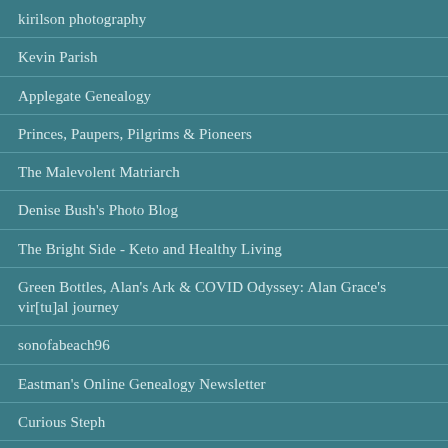kirilson photography
Kevin Parish
Applegate Genealogy
Princes, Paupers, Pilgrims & Pioneers
The Malevolent Matriarch
Denise Bush's Photo Blog
The Bright Side - Keto and Healthy Living
Green Bottles, Alan's Ark & COVID Odyssey: Alan Grace's vir[tu]al journey
sonofabeach96
Eastman's Online Genealogy Newsletter
Curious Steph
Reflections of An Untidy Mind